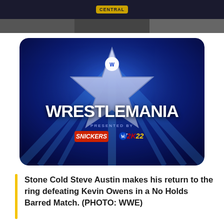CENTRAL
[Figure (photo): WrestleMania logo on blue background with silver star, presented by Snickers and WWE 2K22]
Stone Cold Steve Austin makes his return to the ring defeating Kevin Owens in a No Holds Barred Match. (PHOTO: WWE)